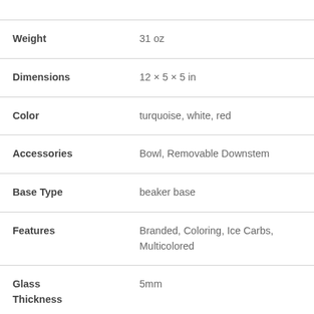| Attribute | Value |
| --- | --- |
| Weight | 31 oz |
| Dimensions | 12 × 5 × 5 in |
| Color | turquoise, white, red |
| Accessories | Bowl, Removable Downstem |
| Base Type | beaker base |
| Features | Branded, Coloring, Ice Carbs, Multicolored |
| Glass Thickness | 5mm |
| Height |  |